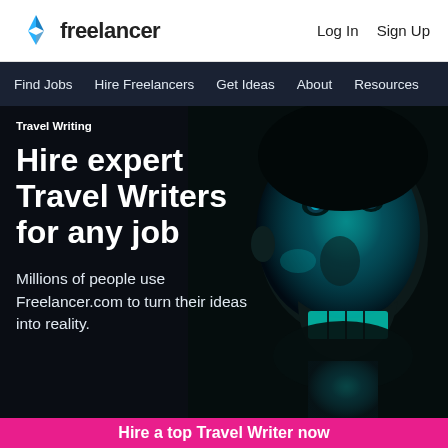Freelancer — Log In  Sign Up
Find Jobs  Hire Freelancers  Get Ideas  About  Resources
Travel Writing
Hire expert Travel Writers for any job
Millions of people use Freelancer.com to turn their ideas into reality.
[Figure (photo): Close-up photo of a smiling man with cyan/blue tinted light illuminating his face against a dark background]
Hire a top Travel Writer now